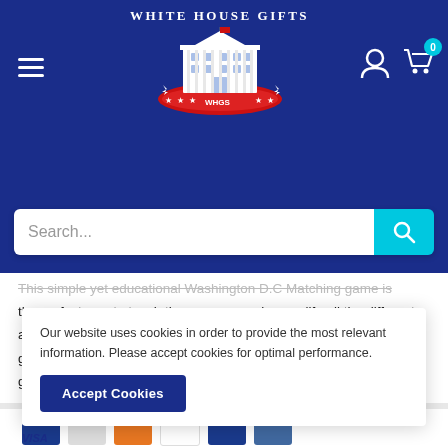WHITE HOUSE GIFTS — navigation header with logo, hamburger menu, user icon, and cart (0)
[Figure (screenshot): White House Gifts logo — white building illustration on red/white banner with stars, with text WHITE HOUSE GIFTS above]
[Figure (screenshot): Search bar with placeholder 'Search...' and teal search button with magnifying glass icon]
This simple yet educational Washington D.C Matching game is the perfect way to teach the young ones in your life all the different aspects and monuments of Washington D.C in a fun fashion! This game consists of 24 Matching Pairs and 48 Cards totaled. This game makes for the perfect gift or souvineer!
Our website uses cookies in order to provide the most relevant information. Please accept cookies for optimal performance.
Accept Cookies